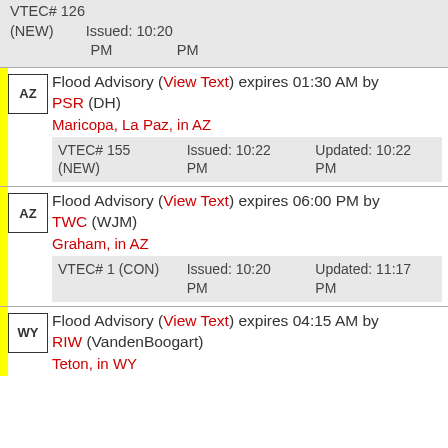VTEC# 126 (NEW) Issued: 10:20 PM Updated: 10:20 PM
AZ Flood Advisory (View Text) expires 01:30 AM by PSR (DH) Maricopa, La Paz, in AZ VTEC# 155 (NEW) Issued: 10:22 PM Updated: 10:22 PM
AZ Flood Advisory (View Text) expires 06:00 PM by TWC (WJM) Graham, in AZ VTEC# 1 (CON) Issued: 10:20 PM Updated: 11:17 PM
WY Flood Advisory (View Text) expires 04:15 AM by RIW (VandenBoogart) Teton, in WY